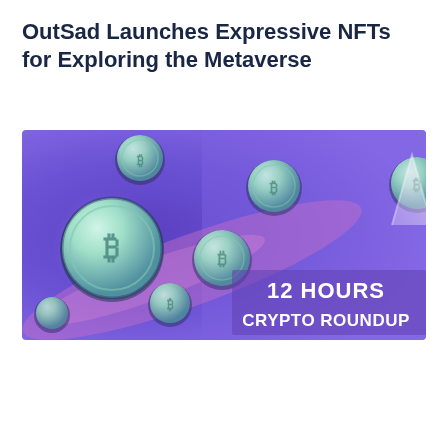OutSad Launches Expressive NFTs for Exploring the Metaverse
[Figure (illustration): Promotional banner image with purple/violet gradient background showing multiple floating cryptocurrency coins (Bitcoin logo visible on largest coin), a pink glowing diagonal streak, an upward-pointing white arrow in upper right, and bold white text reading '12 HOURS CRYPTO ROUNDUP' in lower right area.]